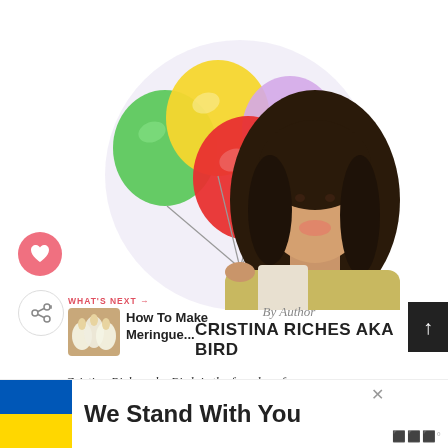[Figure (photo): Woman with long dark hair smiling, holding colorful balloons (green, yellow, red, purple), wearing a gold/beige jacket, inside a light purple circular background]
By Author
CRISTINA RICHES AKA BIRD
Cristina Riches aka Bird, is the founder of BirdsParty.com. She's also a creative mom of two
[Figure (photo): Thumbnail image of meringue cookies]
WHAT'S NEXT → How To Make Meringue...
We Stand With You